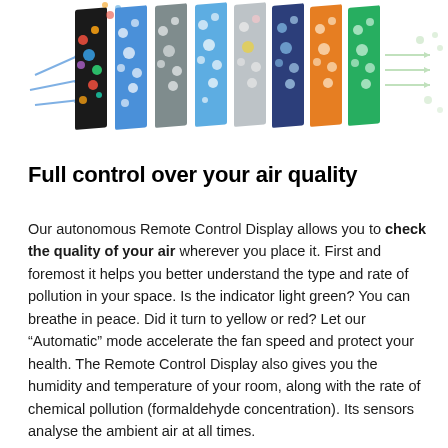[Figure (illustration): A horizontal row of colorful air filter panels in various colors (black, blue, grey, light blue, silver, dark blue, orange, green) with particles/bubbles floating around them, illustrating air filtration layers]
Full control over your air quality
Our autonomous Remote Control Display allows you to check the quality of your air wherever you place it. First and foremost it helps you better understand the type and rate of pollution in your space. Is the indicator light green? You can breathe in peace. Did it turn to yellow or red? Let our “Automatic” mode accelerate the fan speed and protect your health. The Remote Control Display also gives you the humidity and temperature of your room, along with the rate of chemical pollution (formaldehyde concentration). Its sensors analyse the ambient air at all times.